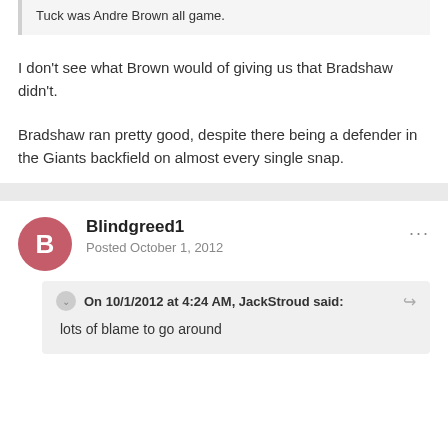Tuck was Andre Brown all game.
I don't see what Brown would of giving us that Bradshaw didn't.
Bradshaw ran pretty good, despite there being a defender in the Giants backfield on almost every single snap.
Blindgreed1
Posted October 1, 2012
On 10/1/2012 at 4:24 AM, JackStroud said:
lots of blame to go around